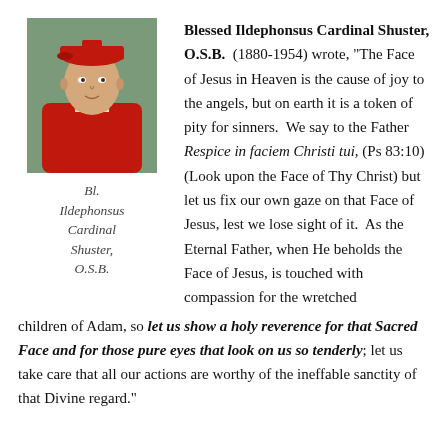[Figure (photo): Portrait photo of Bl. Ildephonsus Cardinal Shuster, O.S.B., a Catholic cardinal wearing red vestments and a red biretta.]
Bl. Ildephonsus Cardinal Shuster, O.S.B.
Blessed Ildephonsus Cardinal Shuster, O.S.B. (1880-1954) wrote, "The Face of Jesus in Heaven is the cause of joy to the angels, but on earth it is a token of pity for sinners. We say to the Father Respice in faciem Christi tui, (Ps 83:10) (Look upon the Face of Thy Christ) but let us fix our own gaze on that Face of Jesus, lest we lose sight of it. As the Eternal Father, when He beholds the Face of Jesus, is touched with compassion for the wretched children of Adam, so let us show a holy reverence for that Sacred Face and for those pure eyes that look on us so tenderly; let us take care that all our actions are worthy of the ineffable sanctity of that Divine regard."